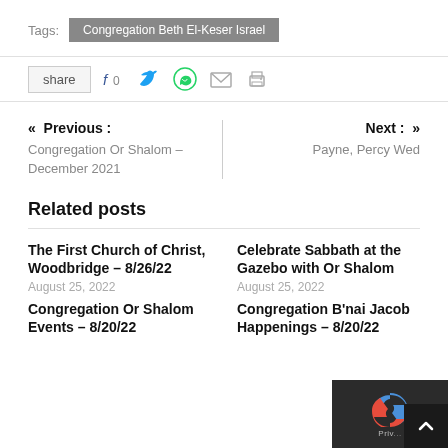Tags: Congregation Beth El-Keser Israel
share  f 0  [Twitter]  [WhatsApp]  [Email]  [Print]
« Previous : Congregation Or Shalom – December 2021
Next : » Payne, Percy Wed
Related posts
The First Church of Christ, Woodbridge – 8/26/22
August 25, 2022
Celebrate Sabbath at the Gazebo with Or Shalom
August 25, 2022
Congregation Or Shalom Events – 8/20/22
Congregation B'nai Jacob Happenings – 8/20/22